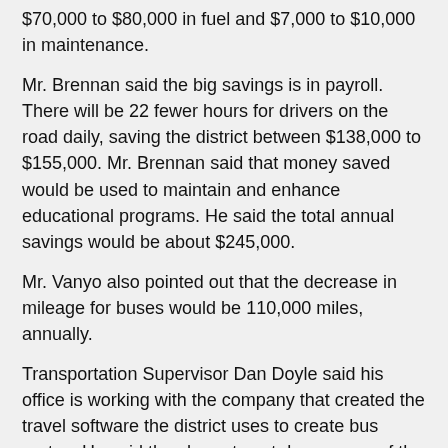$70,000 to $80,000 in fuel and $7,000 to $10,000 in maintenance.
Mr. Brennan said the big savings is in payroll. There will be 22 fewer hours for drivers on the road daily, saving the district between $138,000 to $155,000. Mr. Brennan said that money saved would be used to maintain and enhance educational programs. He said the total annual savings would be about $245,000.
Mr. Vanyo also pointed out that the decrease in mileage for buses would be 110,000 miles, annually.
Transportation Supervisor Dan Doyle said his office is working with the company that created the travel software the district uses to create bus routes. He said they hope to cut down some of the longer bus routes to under an hour. He also said that having all the buses leave the district at the same time would help shorten late bus routes, which can be as long as an hour and half.
As for traffic flow on campus, Director of Facilities and Operations Steven Marotta said, “There are going to be some changes to where we off-load students, mostly at the high school.”